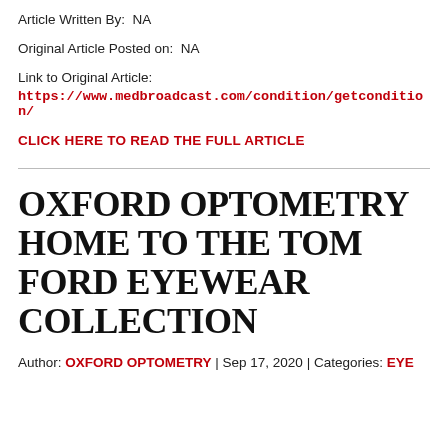Article Written By:  NA
Original Article Posted on:  NA
Link to Original Article:
https://www.medbroadcast.com/condition/getcondition/
CLICK HERE TO READ THE FULL ARTICLE
OXFORD OPTOMETRY HOME TO THE TOM FORD EYEWEAR COLLECTION
Author: OXFORD OPTOMETRY | Sep 17, 2020 | Categories: EYE